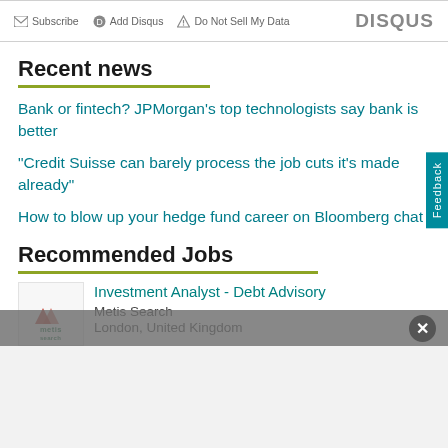Subscribe | Add Disqus | Do Not Sell My Data | DISQUS
Recent news
Bank or fintech? JPMorgan's top technologists say bank is better
"Credit Suisse can barely process the job cuts it's made already"
How to blow up your hedge fund career on Bloomberg chat
Recommended Jobs
Investment Analyst - Debt Advisory
Metis Search
London, United Kingdom